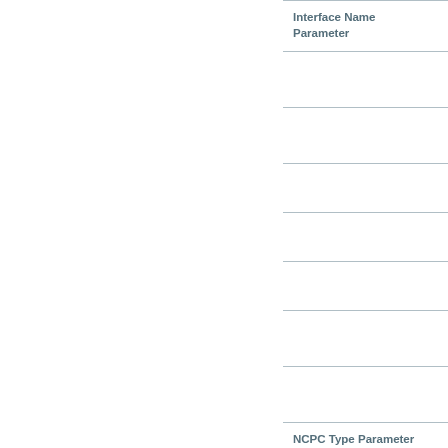| Interface Name Parameter |  |
| --- | --- |
|  |  |
|  |  |
|  |  |
|  |  |
|  |  |
|  |  |
|  |  |
| NCPC Type Parameter |  |